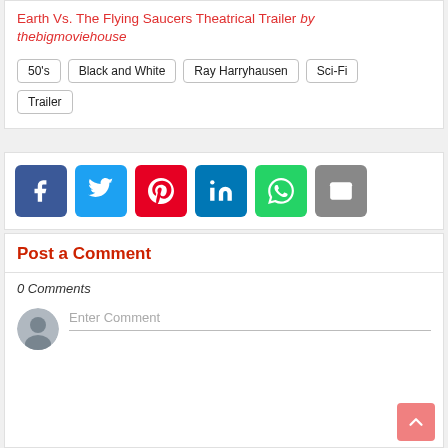Earth Vs. The Flying Saucers Theatrical Trailer by thebigmoviehouse
50's
Black and White
Ray Harryhausen
Sci-Fi
Trailer
[Figure (infographic): Social share buttons: Facebook, Twitter, Pinterest, LinkedIn, WhatsApp, Email]
Post a Comment
0 Comments
Enter Comment